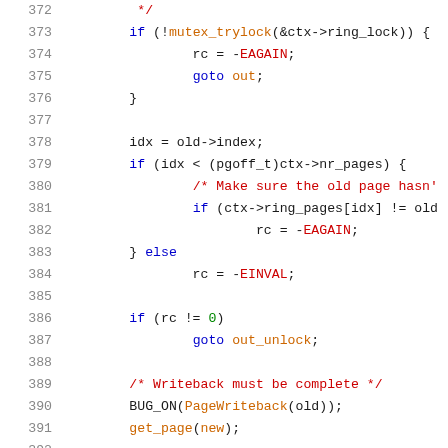[Figure (screenshot): Source code listing (C) showing lines 372-392 with syntax highlighting. Lines include mutex_trylock, EAGAIN, goto out, index/page checks, EINVAL, writeback checks, BUG_ON, get_page calls.]